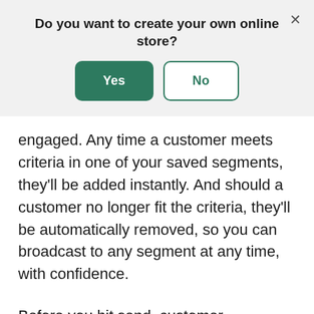Do you want to create your own online store?
[Figure (screenshot): A modal dialog with a title 'Do you want to create your own online store?' and two buttons: a green filled 'Yes' button and a white outlined 'No' button. A close (×) button is in the top-right corner.]
engaged. Any time a customer meets criteria in one of your saved segments, they'll be added instantly. And should a customer no longer fit the criteria, they'll be automatically removed, so you can broadcast to any segment at any time, with confidence.
Before you hit send, customer segmentation shares data on how a specific segment compares to the rest of your customer list. For example, you can see the number of current